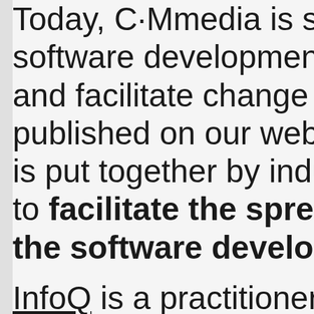Today, C·Mmedia is serving software development con and facilitate change and i published on our websites is put together by industry to facilitate the spread of the software developer co
InfoQ is a practitioner-driv the information needs of s team leads, software archi Every day we create and s language by developers f